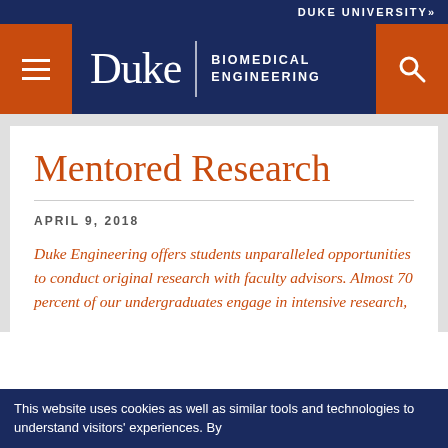DUKE UNIVERSITY»
[Figure (logo): Duke Biomedical Engineering navigation header with hamburger menu, Duke logo with 'BIOMEDICAL ENGINEERING' text, and search icon, on dark navy background with orange accent buttons]
Mentored Research
APRIL 9, 2018
Duke Engineering offers students unparalleled opportunities to conduct original research with faculty advisors. Almost 70 percent of our undergraduates engage in intensive research,
This website uses cookies as well as similar tools and technologies to understand visitors' experiences. By